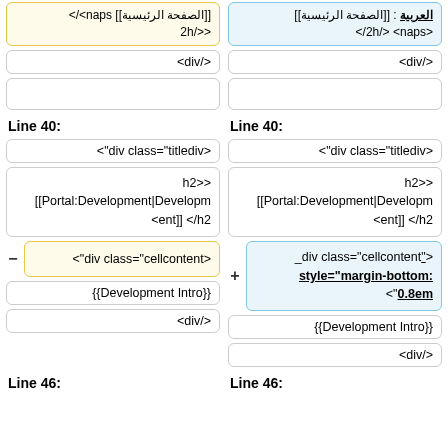| Left column | Right column |
| --- | --- |
| [[الصفحة الرئيسية]] span>/> <<h2 | العربية : [[الصفحة الرئيسية]] <span> </h2/> |
| <div/> | <div/> |
| (empty) | (empty) |
| Line 40: | Line 40: |
| <"div class="titlediv> | <"div class="titlediv> |
| h2>> [[Portal:Development|Developm <ent]] </h2 | h2>> [[Portal:Development|Developm <ent]] </h2 |
| <"div class="cellcontent> | _div class="cellcontent"> style="margin-bottom: <"0.8em |
| {{Development Intro}} | {{Development Intro}} |
| <div/> | <div/> |
| Line 46: | Line 46: |